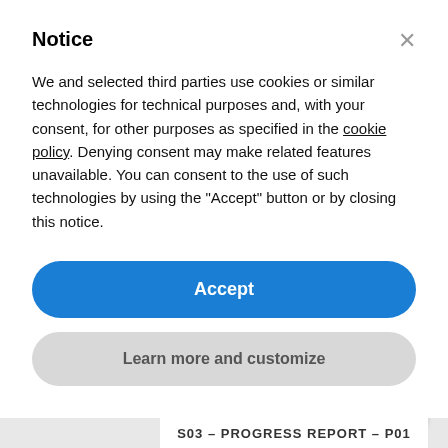Notice
We and selected third parties use cookies or similar technologies for technical purposes and, with your consent, for other purposes as specified in the cookie policy. Denying consent may make related features unavailable. You can consent to the use of such technologies by using the "Accept" button or by closing this notice.
Accept
Learn more and customize
S03 – PROGRESS REPORT – P01